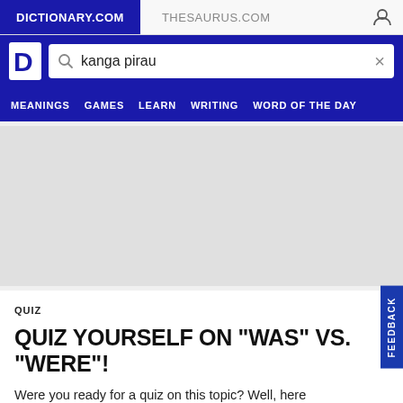DICTIONARY.COM  THESAURUS.COM
[Figure (screenshot): Dictionary.com logo (white D on blue background)]
kanga pirau
MEANINGS  GAMES  LEARN  WRITING  WORD OF THE DAY
[Figure (other): Advertisement placeholder area (gray box)]
QUIZ
QUIZ YOURSELF ON "WAS" VS. "WERE"!
Were you ready for a quiz on this topic? Well, here